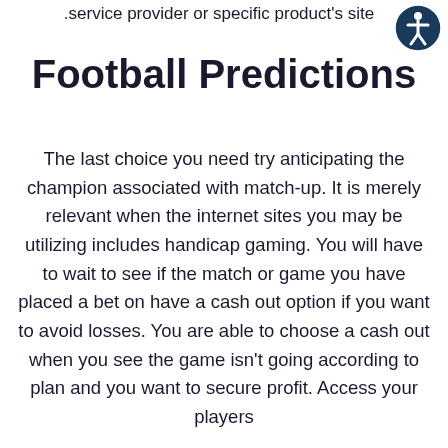.service provider or specific product's site
Football Predictions
The last choice you need try anticipating the champion associated with match-up. It is merely relevant when the internet sites you may be utilizing includes handicap gaming. You will have to wait to see if the match or game you have placed a bet on have a cash out option if you want to avoid losses. You are able to choose a cash out when you see the game isn't going according to plan and you want to secure profit. Access your players